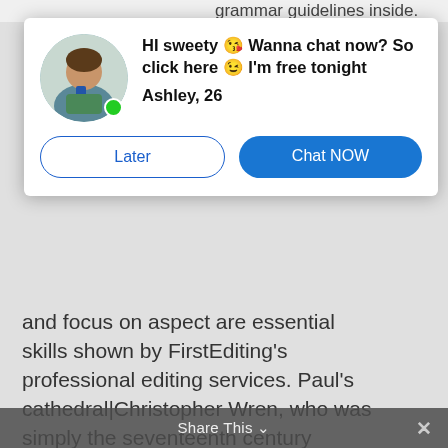grammar guidelines inside.
[Figure (other): Ad popup overlay with avatar photo of a woman, online indicator (green dot), bold message text, name/age, and two buttons (Later, Chat NOW)]
and focus on aspect are essential skills shown by FirstEditing's professional editing services. Paul's cathedral|Christopher Wren, who was simply the seventeenth century designer A interaction choice includes the Web where it's easily accessible to the marketplace.
A business's website is identified by this statement and how
Share This ∨  ×